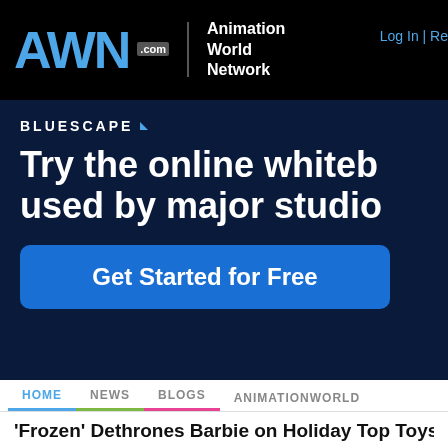AWN.com | Animation World Network | Log In | Re...
[Figure (screenshot): Bluescape advertisement banner on dark navy background. Text reads: BLUESCAPE. Try the online whiteb[oard] used by major studio[s]. Get Started for Free button.]
HOME | NEWS | BLOGS | ANIMATIONWORLD
'Frozen' Dethrones Barbie on Holiday Top Toys Li...
2014 marks the first year that the iconic Mattel doll has not topp...